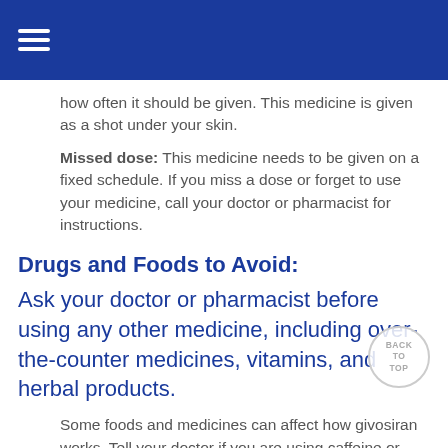how often it should be given. This medicine is given as a shot under your skin.
Missed dose: This medicine needs to be given on a fixed schedule. If you miss a dose or forget to use your medicine, call your doctor or pharmacist for instructions.
Drugs and Foods to Avoid:
Ask your doctor or pharmacist before using any other medicine, including over-the-counter medicines, vitamins, and herbal products.
Some foods and medicines can affect how givosiran works. Tell your doctor if you are using caffeine or dextromethorphan.
Warnings While Using This Medicine: